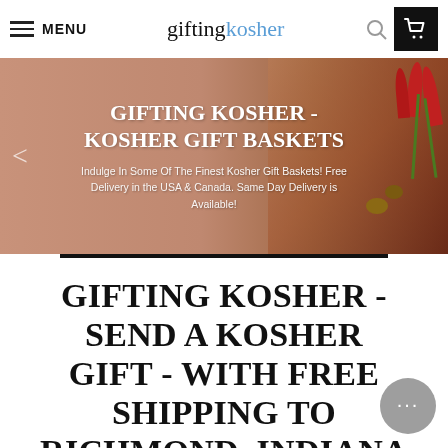MENU | gifting kosher
[Figure (photo): Hero banner with warm brown/terracotta background and food items (nuts, matzah, tulips, honey) on the right side. Text overlay reads 'GIFTING KOSHER - KOSHER GIFT BASKETS' with subtitle 'Indulge In Some Of The Finest Kosher Gift Baskets! Free Delivery in the USA & Canada. Same Day Delivery is Available!']
GIFTING KOSHER - SEND A KOSHER GIFT - WITH FREE SHIPPING TO RICHMOND, INDIANA